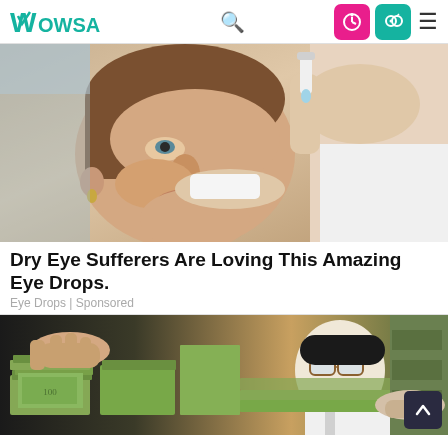WOWSA
[Figure (photo): A woman receiving eye drops from a medical professional's hand, close-up shot]
Dry Eye Sufferers Are Loving This Amazing Eye Drops.
Eye Drops | Sponsored
[Figure (photo): People handling large stacks of US dollar bills, including a man in glasses examining cash]